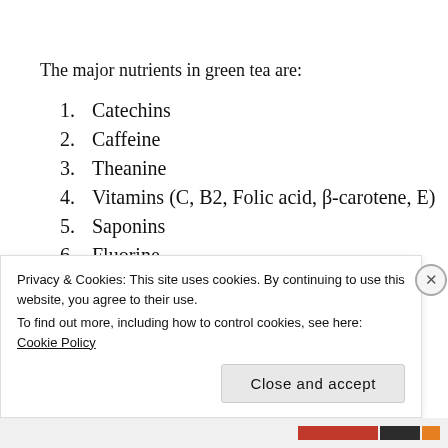The major nutrients in green tea are:
1. Catechins
2. Caffeine
3. Theanine
4. Vitamins (C, B2, Folic acid, β-carotene, E)
5. Saponins
6. Fluorine
Privacy & Cookies: This site uses cookies. By continuing to use this website, you agree to their use.
To find out more, including how to control cookies, see here: Cookie Policy